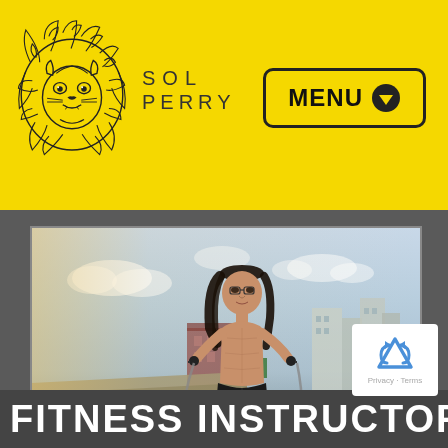SOL PERRY
[Figure (logo): Lion head logo illustration for Sol Perry brand, drawn in black outline style on yellow background]
[Figure (other): Navigation menu button with text MENU and arrow icon, yellow background with black border and rounded corners]
[Figure (photo): Shirtless male fitness instructor jumping rope outdoors with city skyline in background, warm toned photo]
[Figure (other): reCAPTCHA badge with Google logo, Privacy and Terms text]
FITNESS INSTRUCTOR, HEALTH